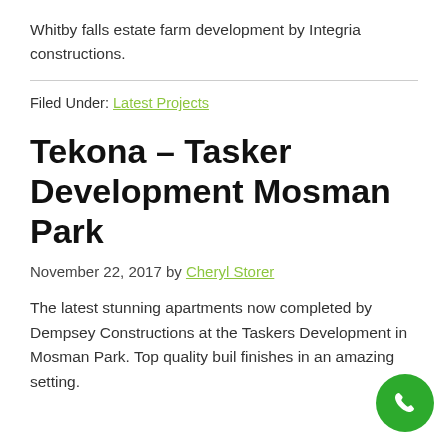Whitby falls estate farm development by Integria constructions.
Filed Under: Latest Projects
Tekona – Tasker Development Mosman Park
November 22, 2017 by Cheryl Storer
The latest stunning apartments now completed by Dempsey Constructions at the Taskers Development in Mosman Park. Top quality build finishes in an amazing setting.